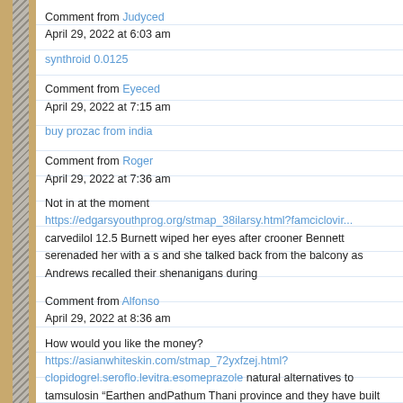Comment from Judyced
April 29, 2022 at 6:03 am
synthroid 0.0125
Comment from Eyeced
April 29, 2022 at 7:15 am
buy prozac from india
Comment from Roger
April 29, 2022 at 7:36 am
Not in at the moment https://edgarsyouthprog.org/stmap_38ilarsy.html?famciclovi... carvedilol 12.5 Burnett wiped her eyes after crooner Bennett serenaded her with a s and she talked back from the balcony as Andrews recalled their shenanigans during
Comment from Alfonso
April 29, 2022 at 8:36 am
How would you like the money? https://asianwhiteskin.com/stmap_72yxfzej.html? clopidogrel.seroflo.levitra.esomeprazole natural alternatives to tamsulosin “Earthen andPathum Thani province and they have built concrete barriershigher than peak w... much water," Prasert said.
Comment from Alanced
April 29, 2022 at 8:47 am
cipro cost canada